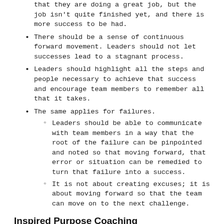that they are doing a great job, but the job isn't quite finished yet, and there is more success to be had.
There should be a sense of continuous forward movement. Leaders should not let successes lead to a stagnant process.
Leaders should highlight all the steps and people necessary to achieve that success and encourage team members to remember all that it takes.
The same applies for failures.
Leaders should be able to communicate with team members in a way that the root of the failure can be pinpointed and noted so that moving forward, that error or situation can be remedied to turn that failure into a success.
It is not about creating excuses; it is about moving forward so that the team can move on to the next challenge.
Inspired Purpose Coaching